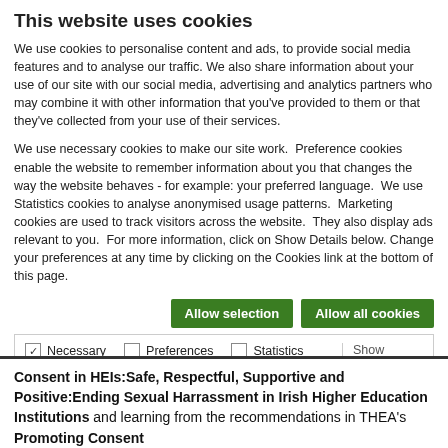This website uses cookies
We use cookies to personalise content and ads, to provide social media features and to analyse our traffic. We also share information about your use of our site with our social media, advertising and analytics partners who may combine it with other information that you've provided to them or that they've collected from your use of their services.
We use necessary cookies to make our site work. Preference cookies enable the website to remember information about you that changes the way the website behaves - for example: your preferred language. We use Statistics cookies to analyse anonymised usage patterns. Marketing cookies are used to track visitors across the website. They also display ads relevant to you. For more information, click on Show Details below. Change your preferences at any time by clicking on the Cookies link at the bottom of this page.
Allow selection | Allow all cookies [buttons]
Necessary | Preferences | Statistics | Marketing | Show details
Consent in HEIs:Safe, Respectful, Supportive and Positive:Ending Sexual Harrassment in Irish Higher Education Institutions and learning from the recommendations in THEA's Promoting Consent